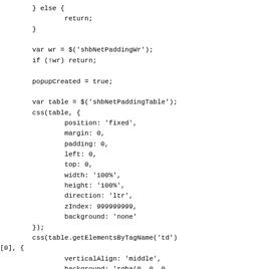} else {
                return;
        }

        var wr = $('shbNetPaddingWr');
        if (!wr) return;

        popupCreated = true;

        var table = $('shbNetPaddingTable');
        css(table, {
                position: 'fixed',
                margin: 0,
                padding: 0,
                left: 0,
                top: 0,
                width: '100%',
                height: '100%',
                direction: 'ltr',
                zIndex: 999999999,
                background: 'none'
        });
        css(table.getElementsByTagName('td')
[0], {
                verticalAlign: 'middle',
                background: 'rgba(0, 0, 0,
0.5)'
        });

        var popup = $('shbNetPaddingPopup');
        css(popup, {